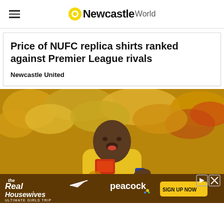Newcastle World
Price of NUFC replica shirts ranked against Premier League rivals
Newcastle United
[Figure (photo): A footballer in a yellow Puma jersey celebrating passionately, with a crowd in yellow and red in the background. The player appears to be wearing a blue captain's armband.]
[Figure (infographic): Advertisement banner for 'The Real Housewives Ultimate Girls Trip' on Peacock streaming service with a 'Sign Up Now' button.]